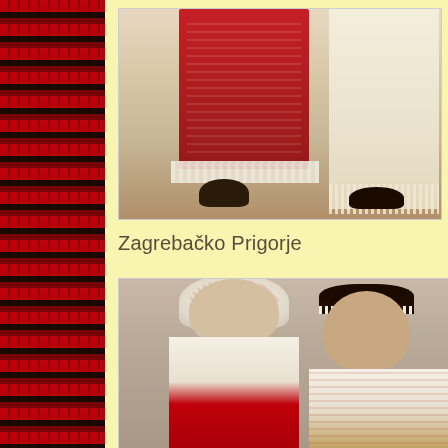[Figure (photo): Decorative Croatian folk textile border pattern in red and black, running vertically along the left side of the page]
[Figure (photo): Lower portion of two people wearing traditional Croatian folk costumes: woman in red embroidered skirt with white lace hem and leather sandals, man in white embroidered coat with fringe and leather shoes, photographed against a neutral background]
Zagrebačko Prigorje
[Figure (photo): A man and woman in traditional Croatian folk costumes from Zagrebačko Prigorje region: woman wears elaborate floral headpiece and richly embroidered red and white costume, man wears black cap with white trim and embroidered shirt, photographed against a grey background]